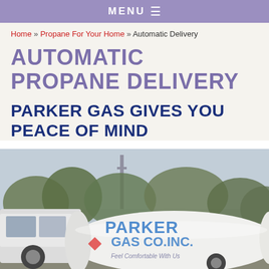MENU ≡
Home » Propane For Your Home » Automatic Delivery
AUTOMATIC PROPANE DELIVERY
PARKER GAS GIVES YOU PEACE OF MIND
[Figure (photo): Parker Gas Co. Inc. propane delivery truck with the logo 'Parker Gas Co. Inc. Feel Comfortable With Us' written on the white tank, parked outdoors with trees and overcast sky in background.]